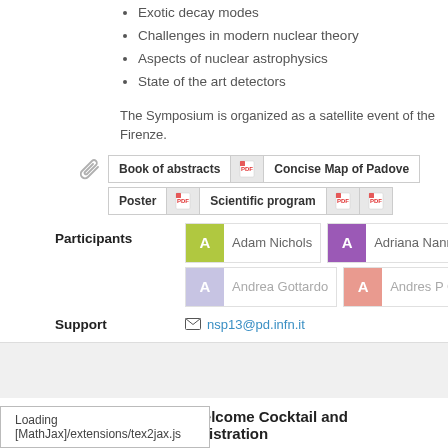Exotic decay modes
Challenges in modern nuclear theory
Aspects of nuclear astrophysics
State of the art detectors
The Symposium is organized as a satellite event of the Firenze.
[Figure (screenshot): Attachment buttons: Book of abstracts (PDF), Concise Map of Padove (PDF), Poster (PDF), Scientific program (PDF x2)]
Participants: Adam Nichols, Adriana Nannini, A..., Andrea Gottardo, Andres P Gadea, A...
Support: nsp13@pd.infn.it
6:00 PM → 8:00 PM  Welcome Cocktail and Registration
Loading [MathJax]/extensions/tex2jax.js